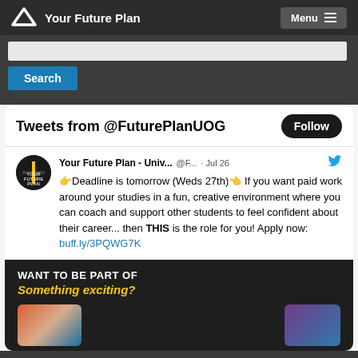Your Future Plan  Menu
Search
Tweets from @FuturePlanUOG
Follow
Your Future Plan - Univ...  @F...  · Jul 26
👉Deadline is tomorrow (Weds 27th)👈 If you want paid work around your studies in a fun, creative environment where you can coach and support other students to feel confident about their career... then THIS is the role for you! Apply now: buff.ly/3PQWG7K
[Figure (screenshot): Dark promotional image with text 'WANT TO BE PART OF Something exciting?' and colorful cards/imagery at the bottom]